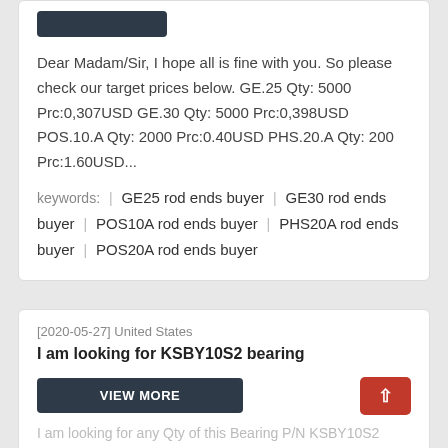Dear Madam/Sir, I hope all is fine with you. So please check our target prices below. GE.25 Qty: 5000 Prc:0,307USD GE.30 Qty: 5000 Prc:0,398USD POS.10.A Qty: 2000 Prc:0.40USD PHS.20.A Qty: 200 Prc:1.60USD...
keywords: | GE25 rod ends buyer | GE30 rod ends buyer | POS10A rod ends buyer | PHS20A rod ends buyer | POS20A rod ends buyer
[2020-05-27] United States
I am looking for KSBY10S2 bearing
VIEW MORE
I am looking for any Qty of this Bearing P/N KSBY10S2